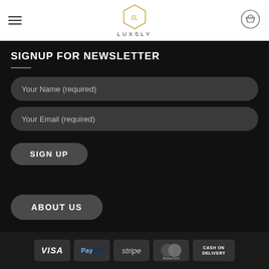[Figure (logo): Luxsly hexagonal logo with letters IL and text LUXSLY below]
SIGNUP FOR NEWSLETTER
Your Name (required)
Your Email (required)
SIGN UP
ABOUT US
[Figure (infographic): Payment method badges: VISA, PayPal, stripe, MasterCard, CASH ON DELIVERY]